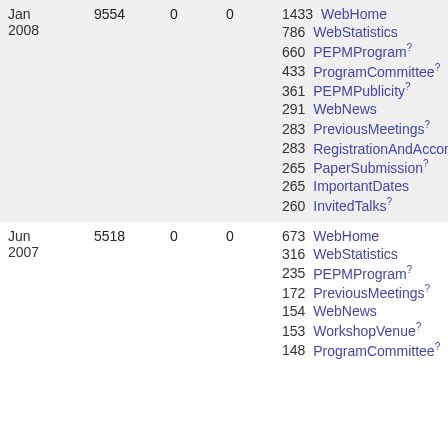| Date | Total | Col3 | Col4 | Top Pages |
| --- | --- | --- | --- | --- |
| Jan 2008 | 9554 | 0 | 0 | 1433 WebHome
786 WebStatistics
660 PEPMProgram
433 ProgramCommittee
361 PEPMPublicity
291 WebNews
283 PreviousMeetings
283 RegistrationAndAccomodation
265 PaperSubmission
265 ImportantDates
260 InvitedTalks |
| Jun 2007 | 5518 | 0 | 0 | 673 WebHome
316 WebStatistics
235 PEPMProgram
172 PreviousMeetings
154 WebNews
153 WorkshopVenue
148 ProgramCommittee |